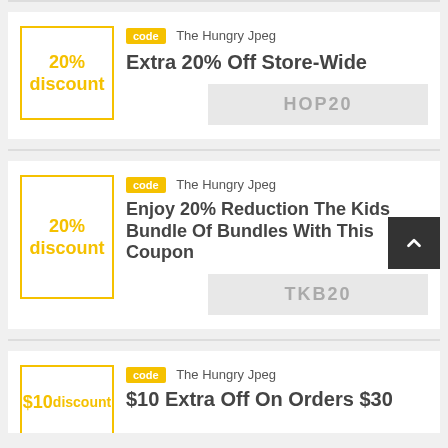[Figure (other): Coupon card: 20% discount box, code tag, store name 'The Hungry Jpeg', title 'Extra 20% Off Store-Wide', code bar 'HOP20']
[Figure (other): Coupon card: 20% discount box, code tag, store name 'The Hungry Jpeg', title 'Enjoy 20% Reduction The Kids Bundle Of Bundles With This Coupon', code bar 'TKB20']
[Figure (other): Coupon card (partial): $10 discount box, code tag, store name 'The Hungry Jpeg', title '$10 Extra Off On Orders $30' (partially visible)]